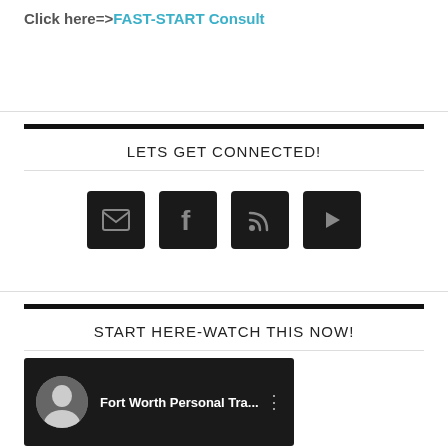Click here=>FAST-START Consult
LETS GET CONNECTED!
[Figure (infographic): Four dark square icon buttons in a row: email/envelope, Facebook f, RSS feed, YouTube play button]
START HERE-WATCH THIS NOW!
[Figure (screenshot): YouTube video thumbnail showing a man's profile photo and the title 'Fort Worth Personal Tra...' with a three-dot menu icon, on a dark background]